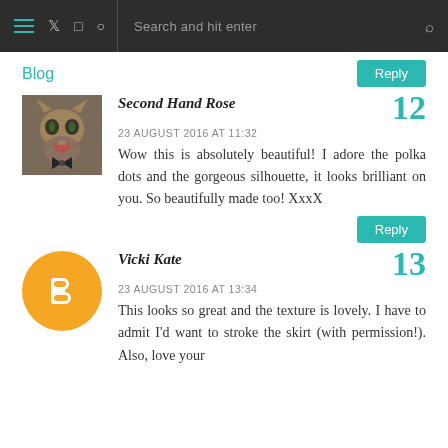Navigation bar with hamburger menu, Twitter, Instagram, Pinterest icons and search
Blog
Reply
Second Hand Rose
23 AUGUST 2016 AT 11:32
Wow this is absolutely beautiful! I adore the polka dots and the gorgeous silhouette, it looks brilliant on you. So beautifully made too! XxxX
12
Reply
Vicki Kate
23 AUGUST 2016 AT 13:34
This looks so great and the texture is lovely. I have to admit I'd want to stroke the skirt (with permission!). Also, love your
13